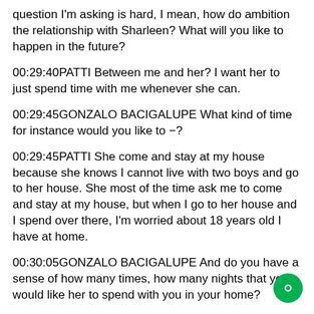question I'm asking is hard, I mean, how do ambition the relationship with Sharleen? What will you like to happen in the future?
00:29:40PATTI Between me and her? I want her to just spend time with me whenever she can.
00:29:45GONZALO BACIGALUPE What kind of time for instance would you like to −?
00:29:45PATTI She come and stay at my house because she knows I cannot live with two boys and go to her house. She most of the time ask me to come and stay at my house, but when I go to her house and I spend over there, I'm worried about 18 years old I have at home.
00:30:05GONZALO BACIGALUPE And do you have a sense of how many times, how many nights that you would like her to spend with you in your home?
00:30:10PATTI Once a week is good if she come and stay the day or night, once a week with me is fine, but when she come